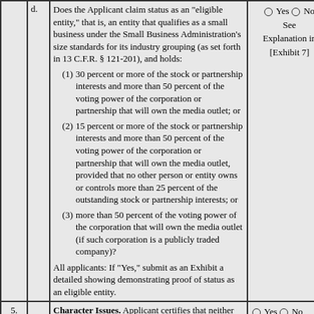|  | d. | Question text | Yes/No |
| --- | --- | --- | --- |
|  | d. | Does the Applicant claim status as an "eligible entity," that is, an entity that qualifies as a small business under the Small Business Administration's size standards for its industry grouping (as set forth in 13 C.F.R. § 121-201), and holds: (1) 30 percent or more of the stock or partnership interests and more than 50 percent of the voting power of the corporation or partnership that will own the media outlet; or (2) 15 percent or more of the stock or partnership interests and more than 50 percent of the voting power of the corporation or partnership that will own the media outlet, provided that no other person or entity owns or controls more than 25 percent of the outstanding stock or partnership interests; or (3) more than 50 percent of the voting power of the corporation that will own the media outlet (if such corporation is a publicly traded company)? All applicants: If "Yes," submit as an Exhibit a detailed showing demonstrating proof of status as an eligible entity. | Yes / No See Explanation in [Exhibit 7] |
| 5. |  | Character Issues. Applicant certifies that neither applicant nor any party to the application has or has had any interest in or connection with: a. any broadcast application in any proceeding where character issues were left unresolved or were resolved | Yes / No See Explanation in [Exhibit 8] |